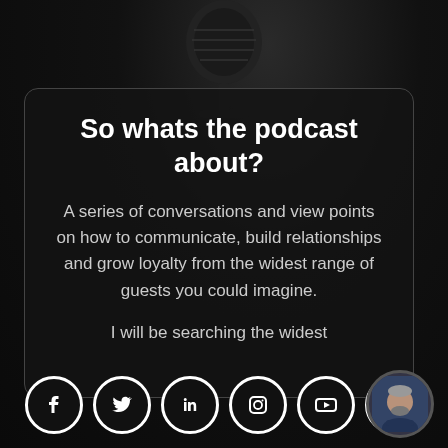[Figure (illustration): Dark background with microphone silhouette at top]
So whats the podcast about?
A series of conversations and view points on how to communicate, build relationships and grow loyalty from the widest range of guests you could imagine.
I will be searching the widest
[Figure (illustration): Social media icons row: Facebook, Twitter, LinkedIn, Instagram, YouTube, TikTok, and a circular avatar photo of a middle-aged bearded man]